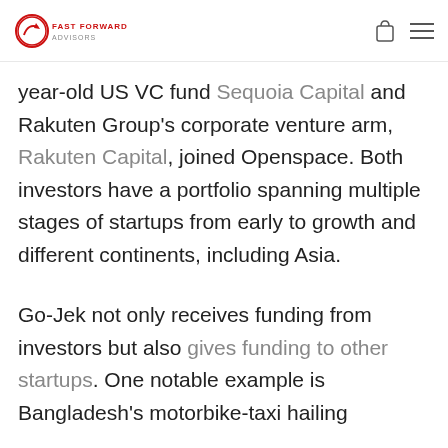FAST FORWARD ADVISORS
year-old US VC fund Sequoia Capital and Rakuten Group's corporate venture arm, Rakuten Capital, joined Openspace. Both investors have a portfolio spanning multiple stages of startups from early to growth and different continents, including Asia.
Go-Jek not only receives funding from investors but also gives funding to other startups. One notable example is Bangladesh's motorbike-taxi hailing